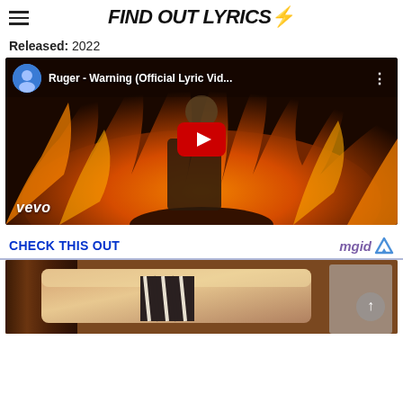FIND OUT LYRICS⚡
Released: 2022
[Figure (screenshot): YouTube embedded video thumbnail showing Ruger - Warning (Official Lyric Vid...) with fire background, Vevo branding, and red play button overlay]
CHECK THIS OUT
[Figure (photo): Advertisement image showing a luxury interior with cream sofa and striped pillow, mgid advertising label]